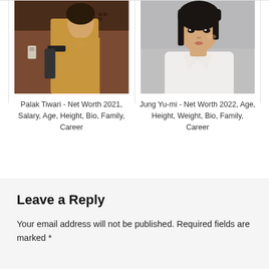[Figure (photo): Photo of Palak Tiwari in a movie scene, wearing a yellow outfit in a dark interior setting]
Palak Tiwari - Net Worth 2021, Salary, Age, Height, Bio, Family, Career
[Figure (photo): Portrait photo of Jung Yu-mi, a Korean actress with short black hair, wearing a white shirt against a gray background]
Jung Yu-mi - Net Worth 2022, Age, Height, Weight, Bio, Family, Career
Leave a Reply
Your email address will not be published. Required fields are marked *